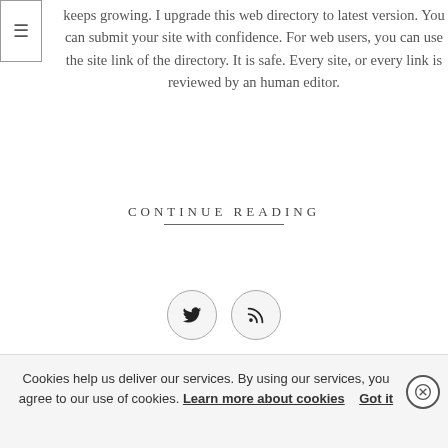keeps growing. I upgrade this web directory to latest version. You can submit your site with confidence. For web users, you can use the site link of the directory. It is safe. Every site, or every link is reviewed by an human editor.
CONTINUE READING
[Figure (other): Two circular social media icon buttons: Twitter bird icon and RSS feed icon]
Cookies help us deliver our services. By using our services, you agree to our use of cookies. Learn more about cookies   Got it